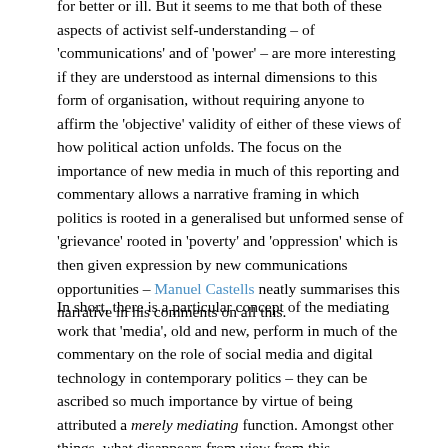for better or ill. But it seems to me that both of these aspects of activist self-understanding – of 'communications' and of 'power' – are more interesting if they are understood as internal dimensions to this form of organisation, without requiring anyone to affirm the 'objective' validity of either of these views of how political action unfolds. The focus on the importance of new media in much of this reporting and commentary allows a narrative framing in which politics is rooted in a generalised but unformed sense of 'grievance' rooted in 'poverty' and 'oppression' which is then given expression by new communications opportunities – Manuel Castells neatly summarises this narrative in his comments on all this.
In short, there is a particular concept of the mediating work that 'media', old and new, perform in much of the commentary on the role of social media and digital technology in contemporary politics – they can be ascribed so much importance by virtue of being attributed a merely mediating function. Amongst other things, what disappears from view from this.